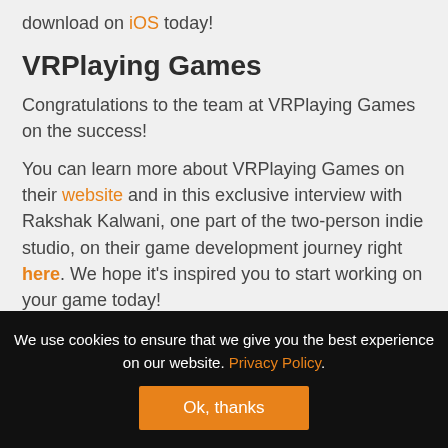download on iOS today!
VRPlaying Games
Congratulations to the team at VRPlaying Games on the success!
You can learn more about VRPlaying Games on their website and in this exclusive interview with Rakshak Kalwani, one part of the two-person indie studio, on their game development journey right here. We hope it's inspired you to start working on your game today!
We use cookies to ensure that we give you the best experience on our website. Privacy Policy.
Ok, thanks